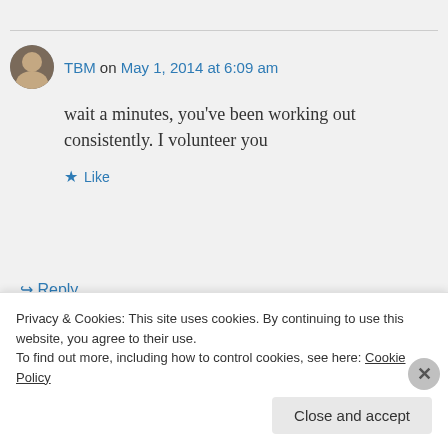TBM on May 1, 2014 at 6:09 am
wait a minutes, you've been working out consistently. I volunteer you
Like
Reply
lameadventures on May 1,
Privacy & Cookies: This site uses cookies. By continuing to use this website, you agree to their use.
To find out more, including how to control cookies, see here: Cookie Policy
Close and accept